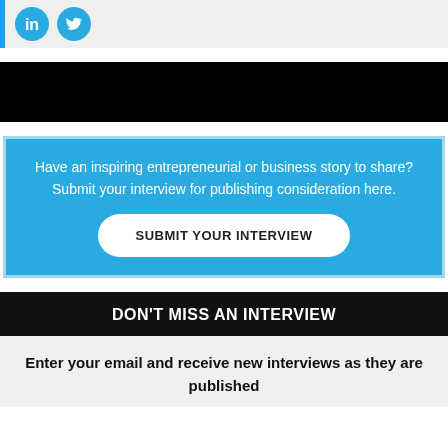[Figure (illustration): Social media icons: LinkedIn (blue circle with 'in') and Twitter (blue circle with bird icon) on a light grey background with a blue left border]
← Lawrence Chu    Eric Dalius →
Have an inspiring entrepreneurial or business story to share? Submit your interview for publishing consideration here.
SUBMIT YOUR INTERVIEW
DON'T MISS AN INTERVIEW
Enter your email and receive new interviews as they are published